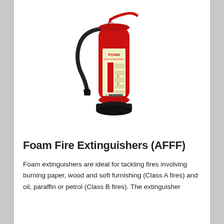[Figure (photo): A red foam fire extinguisher (AFFF/POWERX brand) with a black hose and black base, label showing FOAM FIRE EXTINGUISHER on a cream/yellow panel with safety instructions and pictograms.]
Foam Fire Extinguishers (AFFF)
Foam extinguishers are ideal for tackling fires involving burning paper, wood and soft furnishing (Class A fires) and oil, paraffin or petrol (Class B fires). The extinguisher